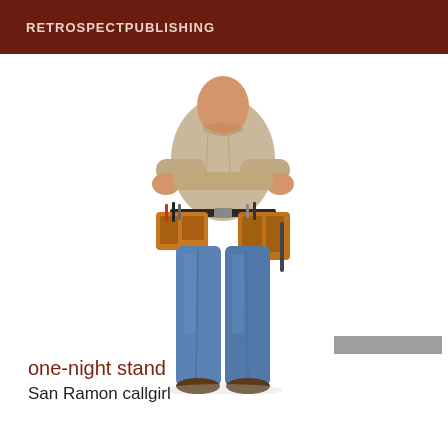RETROSPECTPUBLISHING
[Figure (photo): A handyman/contractor standing with arms crossed, wearing jeans and a tool belt loaded with tools, viewed from mid-torso up, on white background.]
one-night stand
San Ramon callgirl